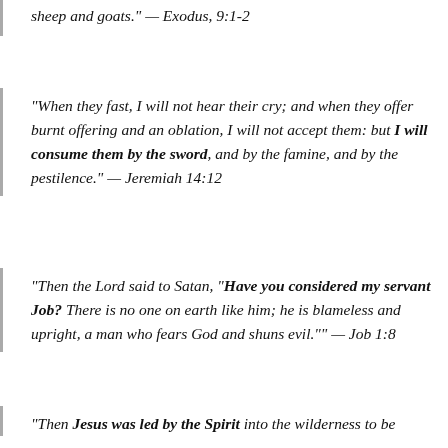sheep and goats." — Exodus, 9:1-2
"When they fast, I will not hear their cry; and when they offer burnt offering and an oblation, I will not accept them: but I will consume them by the sword, and by the famine, and by the pestilence." — Jeremiah 14:12
"Then the Lord said to Satan, "Have you considered my servant Job? There is no one on earth like him; he is blameless and upright, a man who fears God and shuns evil."" — Job 1:8
"Then Jesus was led by the Spirit into the wilderness to be